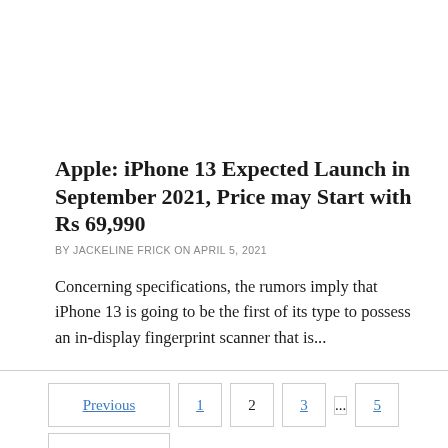Apple: iPhone 13 Expected Launch in September 2021, Price may Start with Rs 69,990
BY JACKELINE FRICK ON APRIL 5, 2021
Concerning specifications, the rumors imply that iPhone 13 is going to be the first of its type to possess an in-display fingerprint scanner that is...
Previous  1  2  3  ...  5  Next